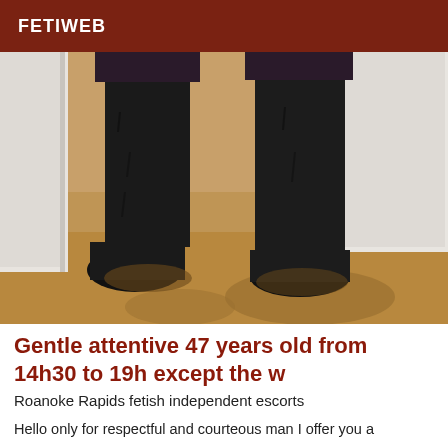FETIWEB
[Figure (photo): Photo showing legs wearing tall black over-the-knee boots standing on a light wood floor with a white piece of furniture in the background]
Gentle attentive 47 years old from 14h30 to 19h except the w
Roanoke Rapids fetish independent escorts
Hello only for respectful and courteous man I offer you a